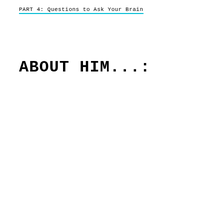PART 4: Questions to Ask Your Brain
ABOUT HIM...: